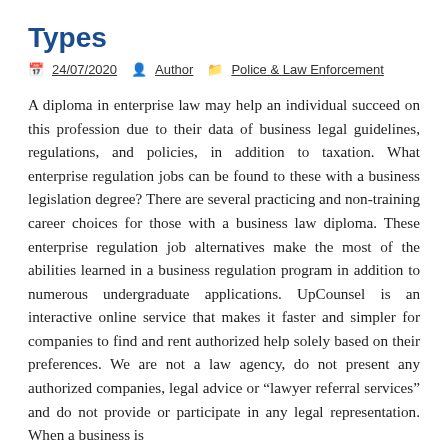Types
24/07/2020  Author  Police & Law Enforcement
A diploma in enterprise law may help an individual succeed on this profession due to their data of business legal guidelines, regulations, and policies, in addition to taxation. What enterprise regulation jobs can be found to these with a business legislation degree? There are several practicing and non-training career choices for those with a business law diploma. These enterprise regulation job alternatives make the most of the abilities learned in a business regulation program in addition to numerous undergraduate applications. UpCounsel is an interactive online service that makes it faster and simpler for companies to find and rent authorized help solely based on their preferences. We are not a law agency, do not present any authorized companies, legal advice or “lawyer referral services” and do not provide or participate in any legal representation. When a business is